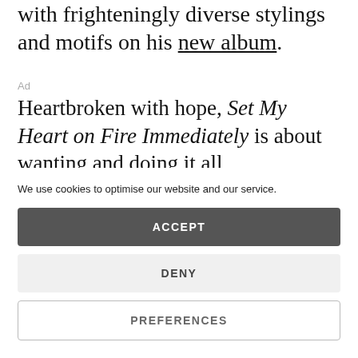with frighteningly diverse stylings and motifs on his new album.
Ad
Heartbroken with hope, Set My Heart on Fire Immediately is about wanting and doing it all, immediately. The immediacy is
We use cookies to optimise our website and our service.
ACCEPT
DENY
PREFERENCES